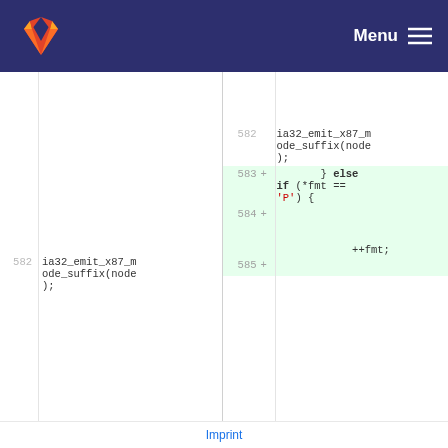[Figure (screenshot): GitLab navigation bar with fox logo and Menu button on dark blue background]
582  ia32_emit_x87_mode_suffix(node);
582  ia32_emit_x87_mode_suffix(node);
583 +  } else if (*fmt == 'P') {
584 +  ++fmt;
585 +
Imprint